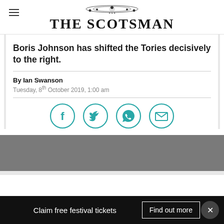THE SCOTSMAN
Boris Johnson has shifted the Tories decisively to the right.
By Ian Swanson
Tuesday, 8th October 2019, 1:00 am
[Figure (infographic): Social share icons: Facebook, Twitter, WhatsApp, Email]
Claim free festival tickets
Find out more